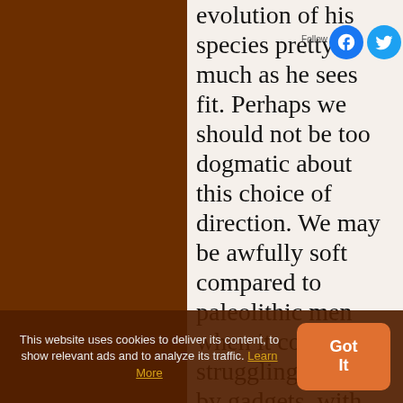evolution of his species pretty much as he sees fit. Perhaps we should not be too dogmatic about this choice of direction. We may be awfully soft compared to paleolithic men when it comes to struggling, unaided by gadgets, with climatic difficulties and wild beasts. Most of us feel most of the time that this is not a very great loss. If our remote descendants grow to be even more effete than we are, they may be compensated by
This website uses cookies to deliver its content, to show relevant ads and to analyze its traffic. Learn More
Got It